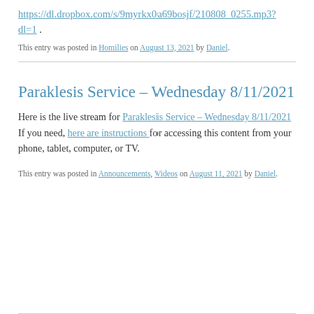https://dl.dropbox.com/s/9myrkx0a69bosjf/210808_0255.mp3?dl=1 .
This entry was posted in Homilies on August 13, 2021 by Daniel.
Paraklesis Service – Wednesday 8/11/2021
Here is the live stream for Paraklesis Service – Wednesday 8/11/2021 If you need, here are instructions for accessing this content from your phone, tablet, computer, or TV.
This entry was posted in Announcements, Videos on August 11, 2021 by Daniel.